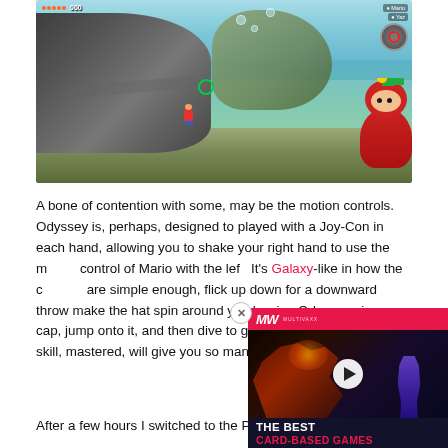[Figure (screenshot): Screenshot of a Super Mario Odyssey underwater level showing Mario character near a large boot/rock shape, a green ring collectible, and a red monkey character on the right side, with game HUD showing coins and health indicator at top]
A bone of contention with some, may be the motion controls. Odyssey is, perhaps, designed to played with a Joy-Con in each hand, allowing you to shake your right hand to use the motion control of Mario with the left. It's Galaxy-like in how the controls are simple enough, flick up down for a downward throw make the hat spin around y barrier. Odyssey gives you cap, jump onto it, and then dive to get even further – and this skill, mastered, will give you so many movement options.
[Figure (screenshot): Advertisement overlay for MullivaX (MW) featuring 'THE BEST CARD-BASED GAMES' with a play button, dark fantasy artwork with dragon and character silhouettes]
After a few hours I switched to the Pro Controller